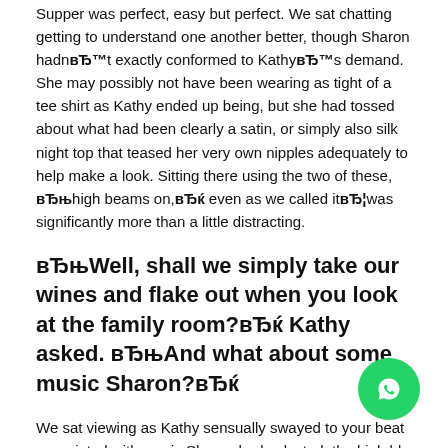Supper was perfect, easy but perfect. We sat chatting getting to understand one another better, though Sharon hadn'вЂ™t exactly conformed to Kathy'вЂ™s demand. She may possibly not have been wearing as tight of a tee shirt as Kathy ended up being, but she had tossed about what had been clearly a satin, or simply also silk night top that teased her very own nipples adequately to help make a look. Sitting there using the two of these, вЂњhigh beams on,вЂќ even as we called itвЂ¦was significantly more than a little distracting.
вЂњWell, shall we simply take our wines and flake out when you look at the family room?вЂќ Kathy asked. вЂњAnd what about some music Sharon?вЂќ
We sat viewing as Kathy sensually swayed to your beat associated with music Sharon had selected, the high bl quickly joining her, dancing together here in the center o flooring nearly seductively. I was lost when they began running
[Figure (other): WhatsApp contact button (green circle with phone/chat icon)]